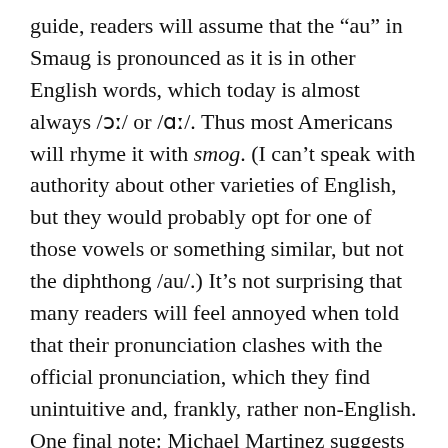guide, readers will assume that the “au” in Smaug is pronounced as it is in other English words, which today is almost always /ɔː/ or /ɑː/. Thus most Americans will rhyme it with smog. (I can’t speak with authority about other varieties of English, but they would probably opt for one of those vowels or something similar, but not the diphthong /au/.) It’s not surprising that many readers will feel annoyed when told that their pronunciation clashes with the official pronunciation, which they find unintuitive and, frankly, rather non-English.
One final note: Michael Martinez suggests in